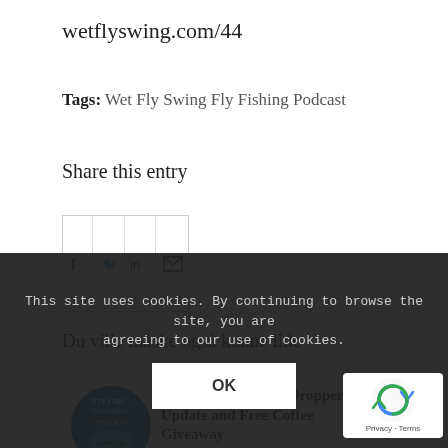wetflyswing.com/44
Tags: Wet Fly Swing Fly Fishing Podcast
Share this entry
[Figure (other): Social share buttons: Facebook, Twitter, LinkedIn, Email icons in a row of bordered boxes]
Du ville måske også kunne lide
[Figure (other): Podcast logo: Wet Fly Swing Fly Fishing Podcast / Coffee Talk circular logo]
Anglers Coffee Dry Dropper Update and Free Coffee Giveaway
This site uses cookies. By continuing to browse the site, you are agreeing to our use of cookies.
OK